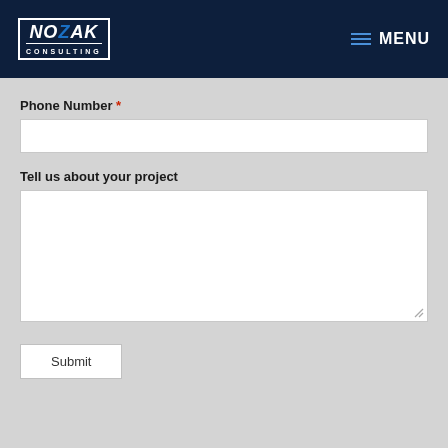Nozak Consulting — MENU
Phone Number *
Tell us about your project
Submit